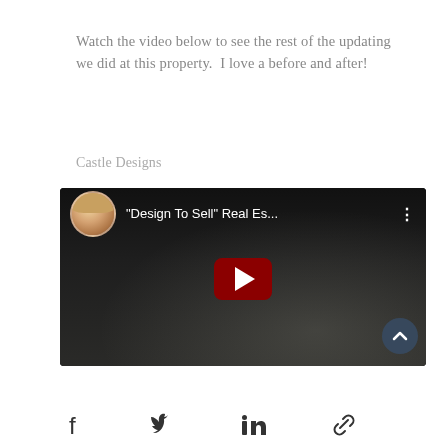Watch the video below to see the rest of the updating we did at this property.  I love a before and after!
Castle Designs
[Figure (screenshot): YouTube video embed showing a woman's avatar and title '"Design To Sell" Real Es...' with a dark background, red play button, and a scroll-up arrow button in the corner.]
[Figure (other): More options button (three blue dots in a circle) and social sharing icons for Facebook, Twitter, LinkedIn, and link copy.]